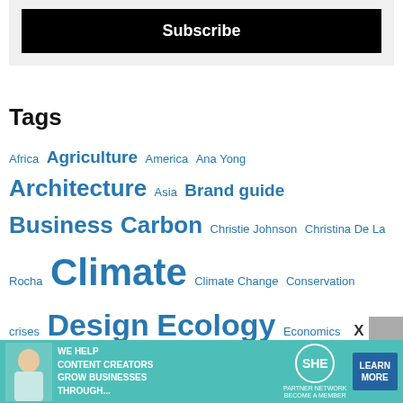[Figure (other): Black Subscribe button on a light grey background]
Tags
Africa Agriculture America Ana Yong Architecture Asia Brand guide Business Carbon Christie Johnson Christina De La Rocha Climate Climate Change Conservation crises Design Ecology Economics Education Ellen Rubin Environment Equality Ethics Europe
[Figure (other): Teal advertisement banner: WE HELP CONTENT CREATORS GROW BUSINESSES THROUGH... SHE PARTNER NETWORK BECOME A MEMBER LEARN MORE]